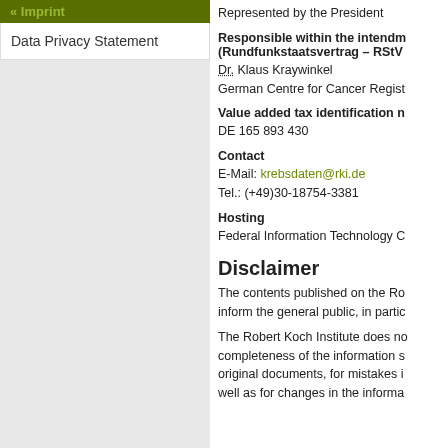« Imprint
Data Privacy Statement
Represented by the President
Responsible within the intendm (Rundfunkstaatsvertrag – RStV
Dr. Klaus Kraywinkel
German Centre for Cancer Regist
Value added tax identification n
DE 165 893 430
Contact
E-Mail: krebsdaten@rki.de
Tel.: (+49)30-18754-3381
Hosting
Federal Information Technology C
Disclaimer
The contents published on the Ro inform the general public, in partic
The Robert Koch Institute does no completeness of the information s original documents, for mistakes i well as for changes in the informa